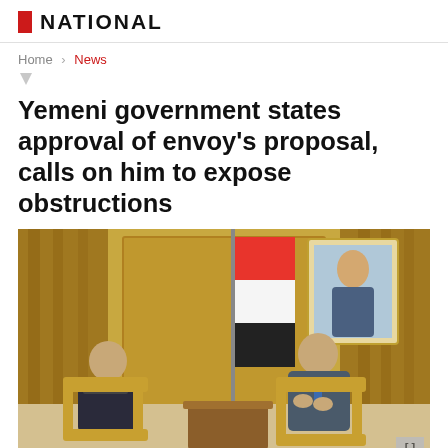THE NATIONAL
Home > News
Yemeni government states approval of envoy's proposal, calls on him to expose obstructions
[Figure (photo): Two men seated in ornate chairs in a formal meeting room with gold curtains, a Yemeni flag, and a framed portrait on the wall behind them.]